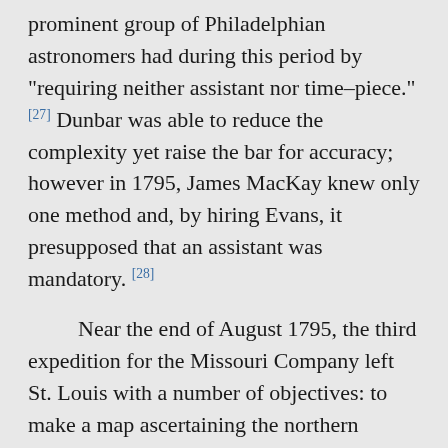prominent group of Philadelphian astronomers had during this period by "requiring neither assistant nor time–piece." [27] Dunbar was able to reduce the complexity yet raise the bar for accuracy; however in 1795, James MacKay knew only one method and, by hiring Evans, it presupposed that an assistant was mandatory. [28]
Near the end of August 1795, the third expedition for the Missouri Company left St. Louis with a number of objectives: to make a map ascertaining the northern boundary of the province, since no chart had been drawn nor evidence collected that verified the northern extent of Louisiana; to establish forts along the Missouri River; to reach the Mandans in North Dakota; and to find a water route to the Pacific Ocean. [29] Governor Carondelet was so pleased with the possibility of finding a water route that he offered a cash prize of 3000 piastres to the first Spanish subject who could penetrate to the Pacific Ocean